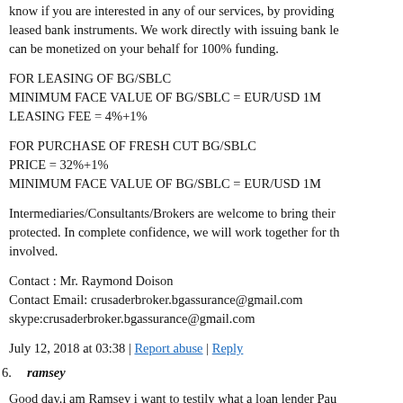know if you are interested in any of our services, by providing leased bank instruments. We work directly with issuing bank le can be monetized on your behalf for 100% funding.
FOR LEASING OF BG/SBLC
MINIMUM FACE VALUE OF BG/SBLC = EUR/USD 1M
LEASING FEE = 4%+1%
FOR PURCHASE OF FRESH CUT BG/SBLC
PRICE = 32%+1%
MINIMUM FACE VALUE OF BG/SBLC = EUR/USD 1M
Intermediaries/Consultants/Brokers are welcome to bring their protected. In complete confidence, we will work together for th involved.
Contact : Mr. Raymond Doison
Contact Email: crusaderbroker.bgassurance@gmail.com
skype:crusaderbroker.bgassurance@gmail.com
July 12, 2018 at 03:38 | Report abuse | Reply
6. ramsey
Good day.i am Ramsey i want to testily what a loan lender Pau son was sick and there was no credit with me i had no other ch and Paul a loan lender gave me a loan of $20,000usd with out